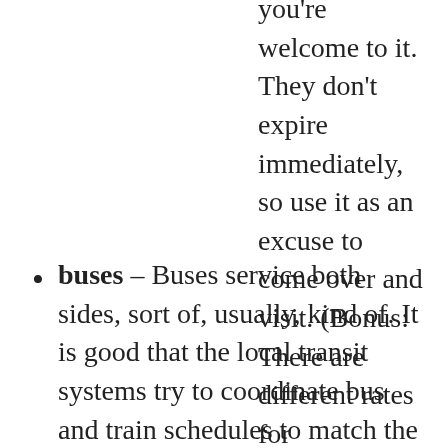resort found a return ticket, you're welcome to it. They don't expire immediately, so use it as an excuse to come over and visit. (Bonus: There are different rates for pedestrians, bicycles, motorcycles, etc.)
buses – Buses service both sides, sort of, usually, kind of. It is good that the local transit systems try to coordinate bus and train schedules to match the ferry schedules, but each agency has its own constraints, so it is good to check with what is really going to be there when you're there